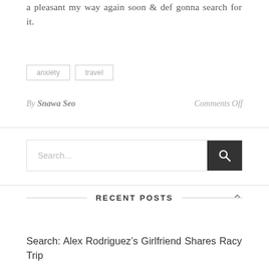a pleasant my way again soon & def gonna search for it.
anxiety
travel
By Snawa Seo   Comments Off
Search...
RECENT POSTS
Search: Alex Rodriguez’s Girlfriend Shares Racy Trip